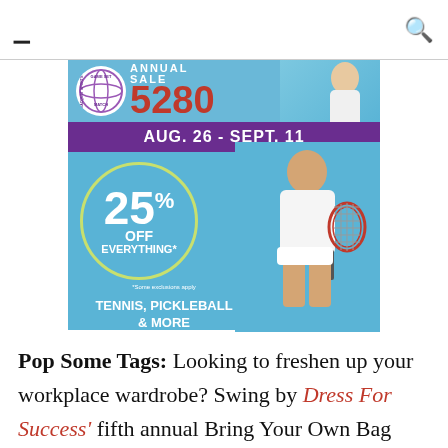≡  [5280 Annual Sale Ad]  🔍
[Figure (advertisement): 5280 Annual Sale ad banner for Game Set Match Racquet Sports. AUG. 26 - SEPT. 11. 25% OFF EVERYTHING*. *Some exclusions apply. TENNIS, PICKLEBALL & MORE. Features a female tennis player on the right side.]
Pop Some Tags: Looking to freshen up your workplace wardrobe? Swing by Dress For Success' fifth annual Bring Your Own Bag sale, where they'll be selling brand new items from retailers like Fancy Tiger Clothing, Steve Madden Shoes, and Sol Shine Boutique, at deeply discounted